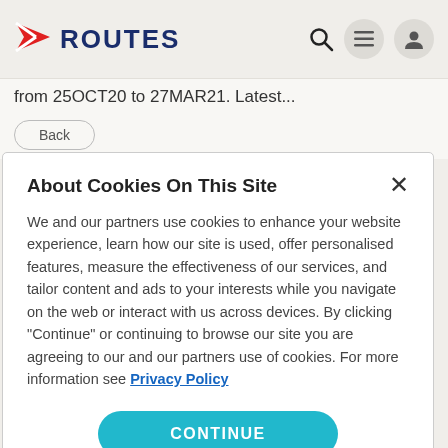ROUTES
from 25OCT20 to 27MAR21. Latest...
About Cookies On This Site
We and our partners use cookies to enhance your website experience, learn how our site is used, offer personalised features, measure the effectiveness of our services, and tailor content and ads to your interests while you navigate on the web or interact with us across devices. By clicking "Continue" or continuing to browse our site you are agreeing to our and our partners use of cookies. For more information see Privacy Policy
CONTINUE